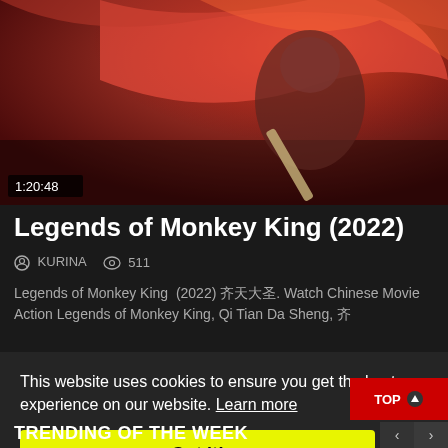[Figure (photo): Movie thumbnail showing a warrior/monkey king character in action with red dramatic background, duration stamp 1:20:48]
Legends of Monkey King (2022)
KURINA  511
Legends of Monkey King (2022) 齐天大圣. Watch Chinese Movie Action Legends of Monkey King, Qi Tian Da Sheng, 齐
This website uses cookies to ensure you get the best experience on our website. Learn more
Got it!
TRENDING OF THE WEEK